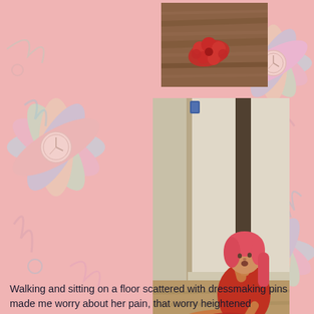[Figure (photo): Close-up photo of a wooden floor with a red crocheted or flower-decorated slipper/shoe visible against the wood grain background]
[Figure (photo): A woman with pink/red hair wearing a red dress sits on a wooden floor in a white-walled room, raising her right fist in the air during what appears to be a performance art piece. Red fabric or yarn is scattered on the floor around her.]
Walking and sitting on a floor scattered with dressmaking pins made me worry about her pain, that worry heightened